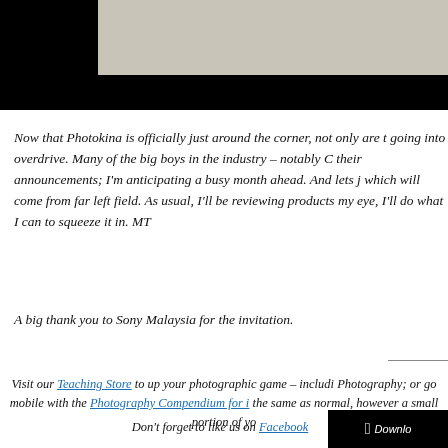[Figure (photo): Top portion of a photo, showing a gray/concrete textured surface, framed in black.]
Now that Photokina is officially just around the corner, not only are t going into overdrive. Many of the big boys in the industry – notably C their announcements; I'm anticipating a busy month ahead. And lets j which will come from far left field. As usual, I'll be reviewing products my eye, I'll do what I can to squeeze it in. MT
A big thank you to Sony Malaysia for the invitation.
Visit our Teaching Store to up your photographic game – includi Photography; or go mobile with the Photography Compendium for i the same as normal, however a small portion of yo
Don't forget to like us on Facebook